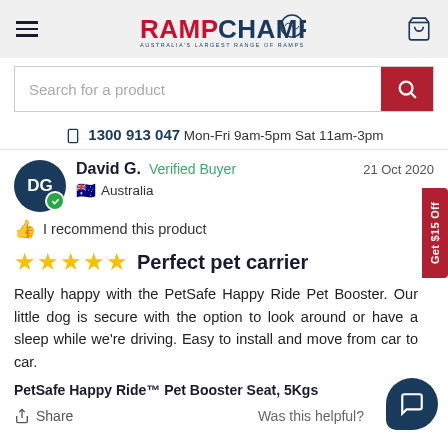[Figure (logo): RampChamp logo — red and navy blue text reading RAMPCHAMP with a laurel wreath circle and tagline AUSTRALIA'S LARGEST RANGE OF RAMPS]
Search for a product
📱 1300 913 047 Mon-Fri 9am-5pm Sat 11am-3pm
David G.   Verified Buyer   21 Oct 2020   Australia
👍 I recommend this product
★★★★★ Perfect pet carrier
Really happy with the PetSafe Happy Ride Pet Booster. Our little dog is secure with the option to look around or have a sleep while we're driving. Easy to install and move from car to car.
PetSafe Happy Ride™ Pet Booster Seat, 5Kgs
Share   Was this helpful?